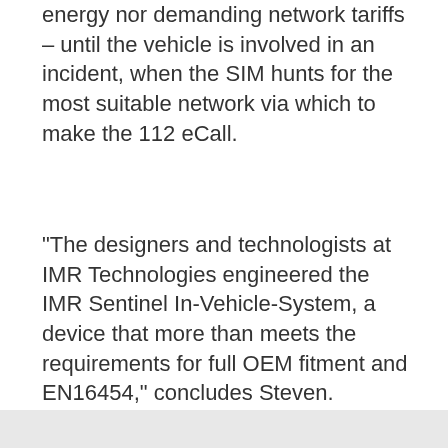energy nor demanding network tariffs – until the vehicle is involved in an incident, when the SIM hunts for the most suitable network via which to make the 112 eCall.
“The designers and technologists at IMR Technologies engineered the IMR Sentinel In-Vehicle-System, a device that more than meets the requirements for full OEM fitment and EN16454,” concludes Steven.